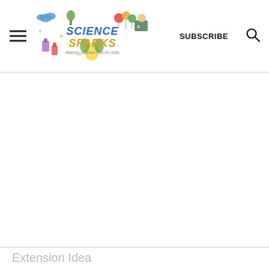Science Sparks — Making Science Fun for Kids | SUBSCRIBE | Search
Extension Idea